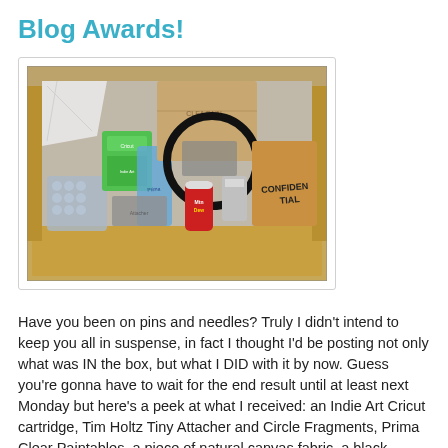Blog Awards!
[Figure (photo): An open cardboard box containing various craft supplies including what appears to be an Indie Art Cricut cartridge, Tim Holtz Tiny Attacher and Circle Fragments, Prima Clear Paintables, a piece of natural canvas fabric, a black patent belt, a can of Mountain Dew, and a manila envelope marked CONFIDENTIAL, among other items wrapped in bubble wrap and packaging.]
Have you been on pins and needles? Truly I didn't intend to keep you all in suspense, in fact I thought I'd be posting not only what was IN the box, but what I DID with it by now. Guess you're gonna have to wait for the end result until at least next Monday but here's a peek at what I received: an Indie Art Cricut cartridge, Tim Holtz Tiny Attacher and Circle Fragments, Prima Clear Paintables, a piece of natural canvas fabric, a black patent belt, and a can of Mountain